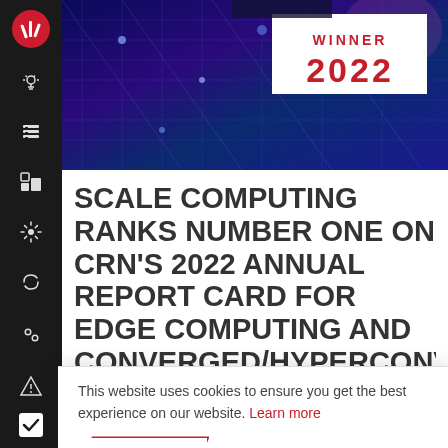[Figure (screenshot): Top hero image with blue/purple circuit board background and a white 'WINNER 2022' badge in red text on the right side]
SCALE COMPUTING RANKS NUMBER ONE ON CRN'S 2022 ANNUAL REPORT CARD FOR EDGE COMPUTING AND CONVERGED/HYPERCONVERGED
This website uses cookies to ensure you get the best experience on our website. Learn more
I AGREE
Converged/Hyperconverged Infrastructure